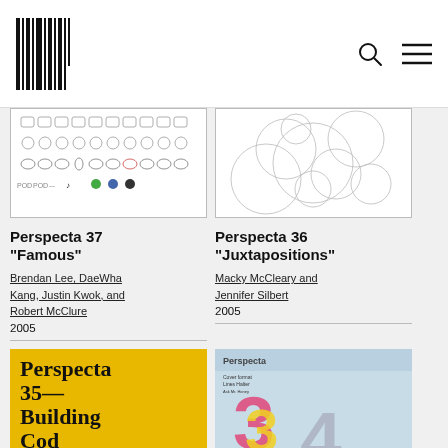Perspecta archive navigation page with logo, search, and menu icons
[Figure (photo): Book cover image of Perspecta 37 showing emoji-like icons grid on white background]
[Figure (photo): Book cover image of Perspecta 36 showing overlapping circles line drawing on white background]
Perspecta 37 "Famous"
Perspecta 36 "Juxtapositions"
Brendan Lee, DaeWha Kang, Justin Kwok, and Robert McClure
2005
Macky McCleary and Jennifer Silbert
2005
[Figure (photo): Yellow book cover with large black text: Perspecta 35— Building Code]
[Figure (photo): Perspecta 34 cover with colorful 3D numbers and magazine layout]